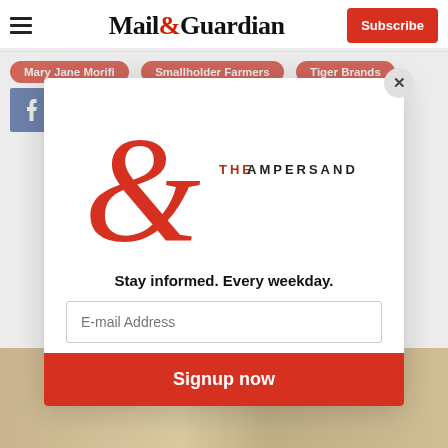Mail&Guardian | Subscribe
Mary Jane Morifi
Smallholder Farmers
Tiger Brands
[Figure (screenshot): Social share buttons: Facebook, Twitter, WhatsApp, LinkedIn]
[Figure (logo): The Ampersand newsletter logo with large red ampersand and text THE AMPERSAND]
Stay informed. Every weekday.
E-mail Address
Signup now